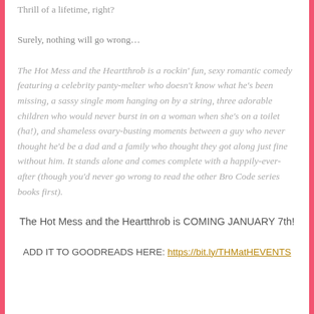Thrill of a lifetime, right?
Surely, nothing will go wrong…
The Hot Mess and the Heartthrob is a rockin' fun, sexy romantic comedy featuring a celebrity panty-melter who doesn't know what he's been missing, a sassy single mom hanging on by a string, three adorable children who would never burst in on a woman when she's on a toilet (ha!), and shameless ovary-busting moments between a guy who never thought he'd be a dad and a family who thought they got along just fine without him. It stands alone and comes complete with a happily-ever-after (though you'd never go wrong to read the other Bro Code series books first).
The Hot Mess and the Heartthrob is COMING JANUARY 7th!
ADD IT TO GOODREADS HERE: https://bit.ly/THMatHEVENTS